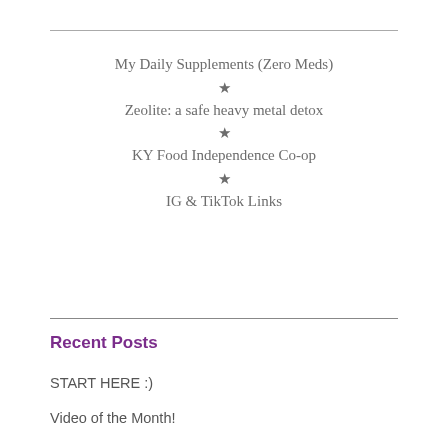My Daily Supplements (Zero Meds)
Zeolite: a safe heavy metal detox
KY Food Independence Co-op
IG & TikTok Links
Recent Posts
START HERE :)
Video of the Month!
Sen. Johnson to FDA re. Safety Concerns
How to find REAL food